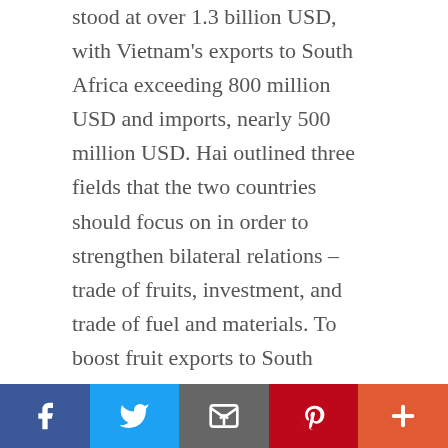stood at over 1.3 billion USD, with Vietnam's exports to South Africa exceeding 800 million USD and imports, nearly 500 million USD. Hai outlined three fields that the two countries should focus on in order to strengthen bilateral relations – trade of fruits, investment, and trade of fuel and materials. To boost fruit exports to South Africa, he advised Vietnamese exporters to pay more attention to processing and selling high value-added products, such as canned juices, dried fruits, jams, and fruit teas. Vietnam has imported a large volume of coal from South Africa as input for thermal power plants over the last several years, he said, adding that the Vietnamese Ministry of Industry and Trade and the
[Figure (infographic): Social media sharing bar with Facebook (dark blue), Twitter (light blue), Email/envelope (gray), Pinterest (red), and More/plus (orange-red) buttons]